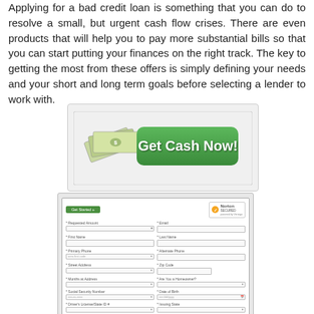Applying for a bad credit loan is something that you can do to resolve a small, but urgent cash flow crises. There are even products that will help you to pay more substantial bills so that you can start putting your finances on the right track. The key to getting the most from these offers is simply defining your needs and your short and long term goals before selecting a lender to work with.
[Figure (other): A promotional banner with a green 'Get Cash Now!' button and fanned dollar bills graphic on a light gray background]
[Figure (screenshot): A loan application form screenshot showing fields for Requested Amount, Email, First Name, Last Name, Primary Phone, Alternate Phone, Street Address, Zip Code, Months at Address, Are You a Homeowner?, Social Security Number, Date of Birth, Driver's License/State ID #, and Issuing State. A green 'Get Started' progress bar and Norton Secured badge are visible at the top.]